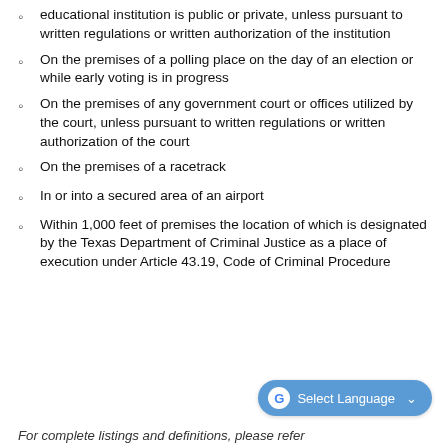educational institution is public or private, unless pursuant to written regulations or written authorization of the institution
On the premises of a polling place on the day of an election or while early voting is in progress
On the premises of any government court or offices utilized by the court, unless pursuant to written regulations or written authorization of the court
On the premises of a racetrack
In or into a secured area of an airport
Within 1,000 feet of premises the location of which is designated by the Texas Department of Criminal Justice as a place of execution under Article 43.19, Code of Criminal Procedure
For complete listings and definitions, please refer